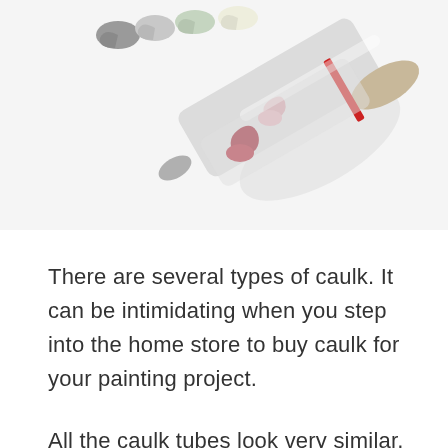[Figure (photo): A photo of multiple caulk tubes lying diagonally with different colored caulk squeezed out from their tips — gray, light green, cream/white, pink, and dark red/maroon colors visible.]
There are several types of caulk. It can be intimidating when you step into the home store to buy caulk for your painting project.
All the caulk tubes look very similar, but they each serve a specific purpose. So don't worry, we'll give you a list of the ones you could need below, along with each of their uses.